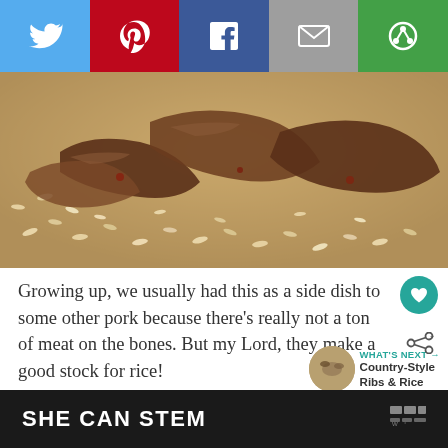[Figure (other): Social share bar with Twitter (blue), Pinterest (red), Facebook (dark blue), Email (gray), and share/circle (green) buttons with white icons]
[Figure (photo): Close-up photo of cooked pork ribs with rice in a pan or dish, brown and golden tones]
Growing up, we usually had this as a side dish to some other pork because there's really not a ton of meat on the bones. But my Lord, they make a good stock for rice!
WHAT'S NEXT → Country-Style Ribs & Rice
SHE CAN STEM